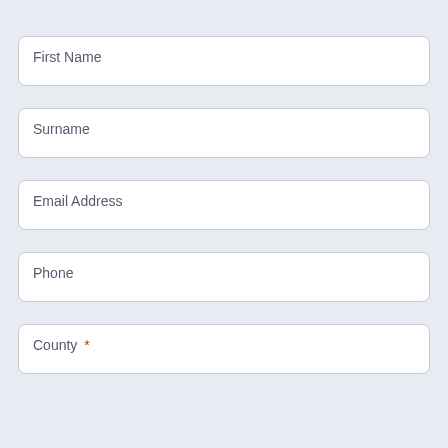First Name
Surname
Email Address
Phone
County *